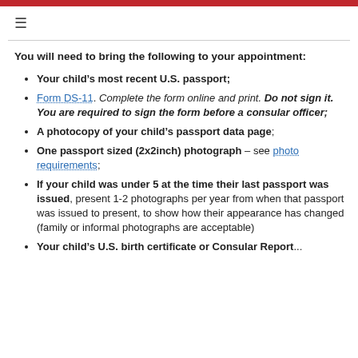You will need to bring the following to your appointment:
Your child’s most recent U.S. passport;
Form DS-11. Complete the form online and print. Do not sign it. You are required to sign the form before a consular officer;
A photocopy of your child’s passport data page;
One passport sized (2x2inch) photograph – see photo requirements;
If your child was under 5 at the time their last passport was issued, present 1-2 photographs per year from when that passport was issued to present, to show how their appearance has changed (family or informal photographs are acceptable)
Your child’s U.S. birth certificate or Consular Report...